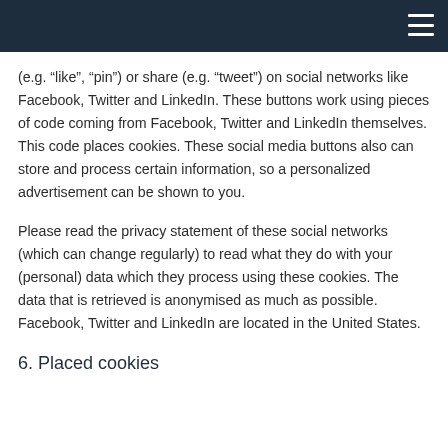(e.g. “like”, “pin”) or share (e.g. “tweet”) on social networks like Facebook, Twitter and LinkedIn. These buttons work using pieces of code coming from Facebook, Twitter and LinkedIn themselves. This code places cookies. These social media buttons also can store and process certain information, so a personalized advertisement can be shown to you.
Please read the privacy statement of these social networks (which can change regularly) to read what they do with your (personal) data which they process using these cookies. The data that is retrieved is anonymised as much as possible. Facebook, Twitter and LinkedIn are located in the United States.
6. Placed cookies